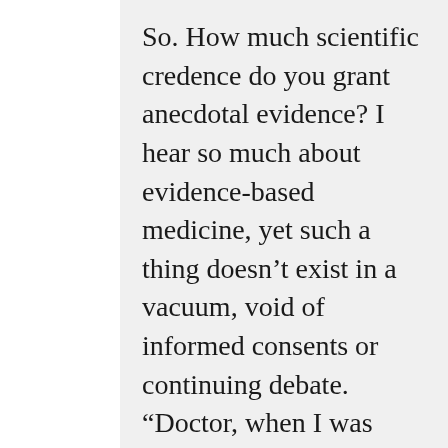So. How much scientific credence do you grant anecdotal evidence? I hear so much about evidence-based medicine, yet such a thing doesn’t exist in a vacuum, void of informed consents or continuing debate. “Doctor, when I was two, my uncle says I was bit by a snickerboodle and swelled up so bad I couldn’t breathe and they had to cut a hole in my neck. Do you think I should get me one of them snickerboodle venom kits when I go